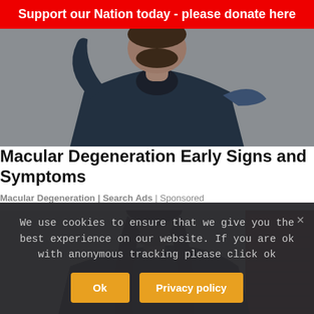Support our Nation today - please donate here
[Figure (photo): Man in dark blue shirt with hand raised near his head, photographed from chest up against a neutral background]
Macular Degeneration Early Signs and Symptoms
Macular Degeneration | Search Ads | Sponsored
[Figure (photo): Woman with long dark hair looking to the side, photographed outdoors near a beige wall and brick wall]
We use cookies to ensure that we give you the best experience on our website. If you are ok with anonymous tracking please click ok